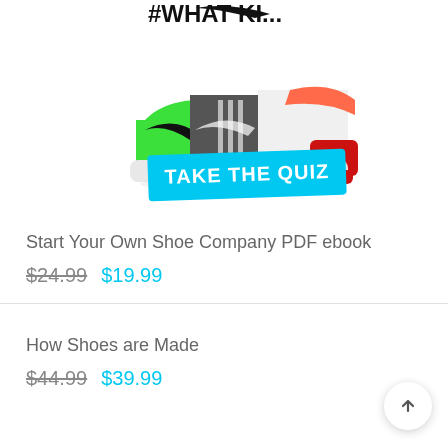[Figure (photo): Composite Nike shoe photograph showing multiple sneaker designs merged together, with green, black/grey, and red/white colorways visible. A cyan 'TAKE THE QUIZ' button overlays the bottom. A partial '#WHAT KI...' hashtag is visible at the top.]
Start Your Own Shoe Company PDF ebook
$24.99  $19.99
How Shoes are Made
$44.99  $39.99